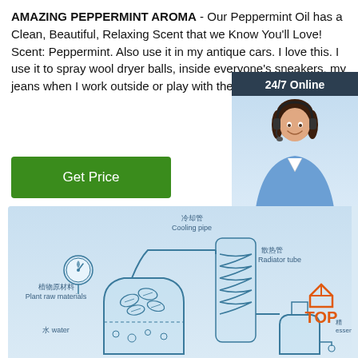AMAZING PEPPERMINT AROMA - Our Peppermint Oil has a Clean, Beautiful, Relaxing Scent that we Know You'll Love! Scent: Peppermint. Also use it in my antique cars. I love this. I use it to spray wool dryer balls, inside everyone's sneakers, my jeans when I work outside or play with the pup.
[Figure (other): Green 'Get Price' button]
[Figure (infographic): 24/7 Online chat widget with customer service representative photo and QUOTATION button]
[Figure (schematic): Essential oil distillation diagram showing plant raw materials, cooling pipe (冷却管), radiator tube (散热管), water (水 water), with Chinese and English labels. Plant raw materials (植物原材料) in distillation flask with leaves, coiled condenser, and collection vessel for essential oil.]